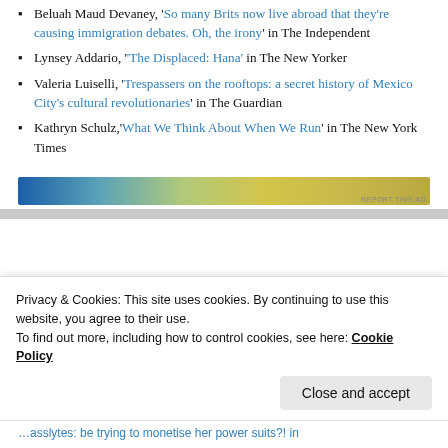Beluah Maud Devaney, 'So many Brits now live abroad that they're causing immigration debates. Oh, the irony' in The Independent
Lynsey Addario, 'The Displaced: Hana' in The New Yorker
Valeria Luiselli, 'Trespassers on the rooftops: a secret history of Mexico City's cultural revolutionaries' in The Guardian
Kathryn Schulz,'What We Think About When We Run' in The New York Times
[Figure (other): Gradient advertisement banner from blue to yellow-green. Label 'REPORT THIS AD' at bottom right.]
Privacy & Cookies: This site uses cookies. By continuing to use this website, you agree to their use.
To find out more, including how to control cookies, see here: Cookie Policy
Close and accept
…asslytes: be trying to monetise her power suits?! in